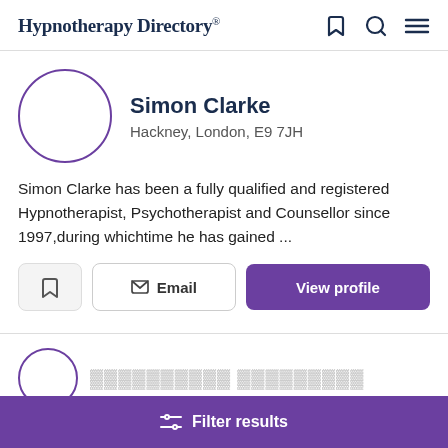Hypnotherapy Directory
Simon Clarke
Hackney, London, E9 7JH
Simon Clarke has been a fully qualified and registered Hypnotherapist, Psychotherapist and Counsellor since 1997,during whichtime he has gained ...
Email | View profile
[Figure (screenshot): Filter results bar at bottom of page]